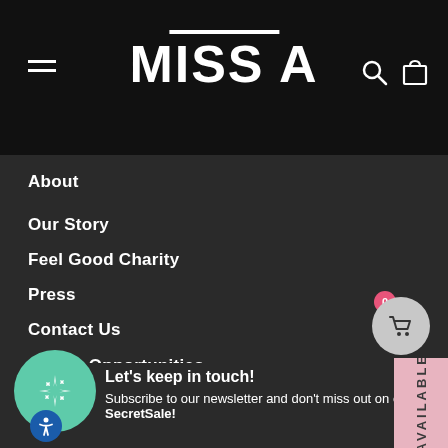MISS A
About
Our Story
Feel Good Charity
Press
Contact Us
Career Opportunities
Let's keep in touch!
Subscribe to our newsletter and don't miss out on our weekly SecretSale!